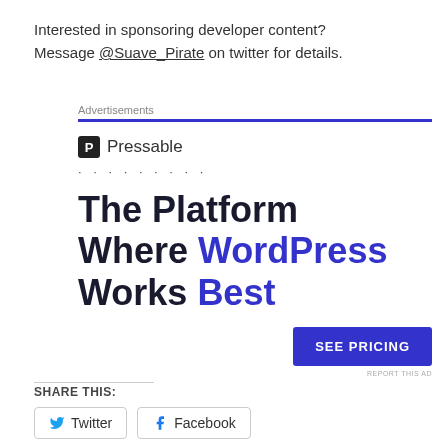Interested in sponsoring developer content? Message @Suave_Pirate on twitter for details.
Advertisements
[Figure (infographic): Pressable advertisement: logo with 'P' icon and 'Pressable' text, dotted separator, headline 'The Platform Where WordPress Works Best', blue 'SEE PRICING' button, 'REPORT THIS AD' small text]
SHARE THIS:
Twitter
Facebook